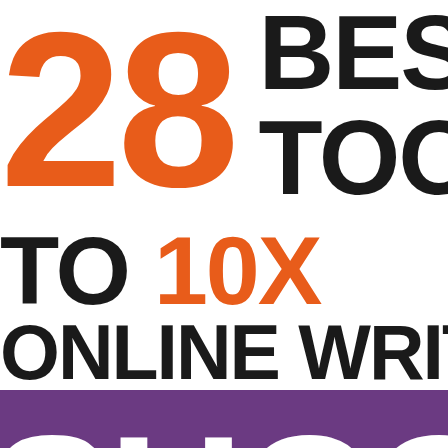28 BEST TOOLS TO 10X ONLINE WRITING SUCCESS
inspireyoursuccess.com
[Figure (illustration): Bottom strip showing colorful abstract background suggesting writing/content creation]